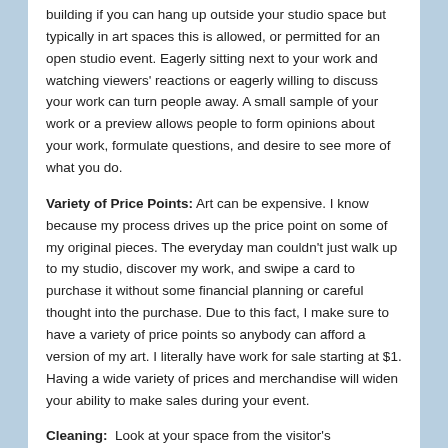building if you can hang up outside your studio space but typically in art spaces this is allowed, or permitted for an open studio event. Eagerly sitting next to your work and watching viewers' reactions or eagerly willing to discuss your work can turn people away. A small sample of your work or a preview allows people to form opinions about your work, formulate questions, and desire to see more of what you do.
Variety of Price Points: Art can be expensive. I know because my process drives up the price point on some of my original pieces. The everyday man couldn't just walk up to my studio, discover my work, and swipe a card to purchase it without some financial planning or careful thought into the purchase. Due to this fact, I make sure to have a variety of price points so anybody can afford a version of my art. I literally have work for sale starting at $1. Having a wide variety of prices and merchandise will widen your ability to make sales during your event.
Cleaning: Look at your space from the visitor's perspective. Do you have large piles of tools or papers sitting out? Clean up your space as much as you can without completely interrupting your workflow if you are currently working on something. You are having guests